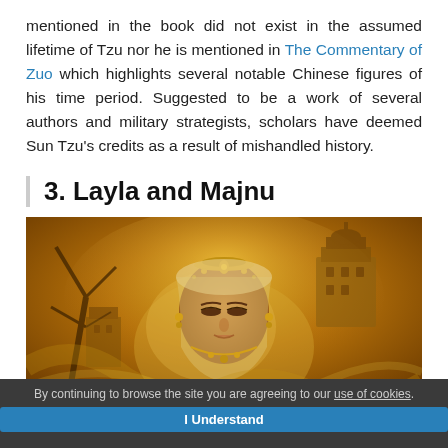mentioned in the book did not exist in the assumed lifetime of Tzu nor he is mentioned in The Commentary of Zuo which highlights several notable Chinese figures of his time period. Suggested to be a work of several authors and military strategists, scholars have deemed Sun Tzu's credits as a result of mishandled history.
3. Layla and Majnu
[Figure (illustration): A painting depicting a woman in golden/amber tones with ornate jewelry and a veil, eyes closed, with architectural elements visible in the background against swirling golden clouds. Style suggests Indian or Persian artistic tradition.]
By continuing to browse the site you are agreeing to our use of cookies.
I Understand